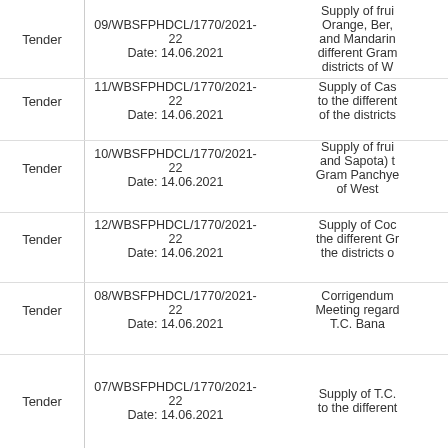| Type | Reference Number / Date | Description |
| --- | --- | --- |
| Tender | 09/WBSFPHDCL/1770/2021-22
Date: 14.06.2021 | Supply of fruit Orange, Ber, and Mandarin different Gram districts of W |
| Tender | 11/WBSFPHDCL/1770/2021-22
Date: 14.06.2021 | Supply of Cas to the different of the districts |
| Tender | 10/WBSFPHDCL/1770/2021-22
Date: 14.06.2021 | Supply of frui and Sapota) t Gram Panchye of West |
| Tender | 12/WBSFPHDCL/1770/2021-22
Date: 14.06.2021 | Supply of Coc the different Gr the districts o |
| Tender | 08/WBSFPHDCL/1770/2021-22
Date: 14.06.2021 | Corrigendum Meeting regard T.C. Bana |
| Tender | 07/WBSFPHDCL/1770/2021-22
Date: 14.06.2021 | Supply of T.C. to the different |